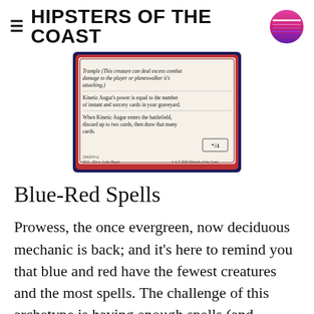HIPSTERS OF THE COAST
[Figure (photo): Magic: The Gathering card - Kinetic Augur from M21. Shows card text: Trample (This creature can deal excess combat damage to the player or planeswalker it's attacking.) Kinetic Augur's power is equal to the number of instant and sorcery cards in your graveyard. When Kinetic Augur enters the battlefield, discard up to two cards, then draw that many cards. Power/Toughness: */4]
Blue-Red Spells
Prowess, the once evergreen, now deciduous mechanic is back; and it's here to remind you that blue and red have the fewest creatures and the most spells. The challenge of this archetype is having enough spells (and